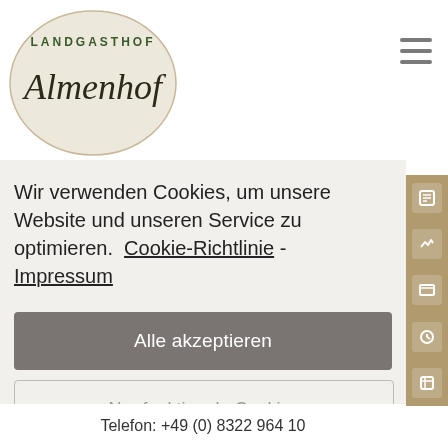[Figure (logo): Landgasthof Almenhof oval logo with decorative script lettering on a beige/cream background]
Wir verwenden Cookies, um unsere Website und unseren Service zu optimieren.  Cookie-Richtlinie - Impressum
Alle akzeptieren
Nur funktionale Cookies
Einstellungen anzeigen
Telefon: +49 (0) 8322 964 10